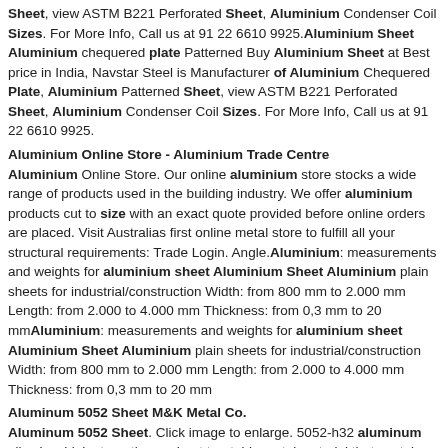Sheet, view ASTM B221 Perforated Sheet, Aluminium Condenser Coil Sizes. For More Info, Call us at 91 22 6610 9925.Aluminium Sheet Aluminium chequered plate Patterned Buy Aluminium Sheet at Best price in India, Navstar Steel is Manufacturer of Aluminium Chequered Plate, Aluminium Patterned Sheet, view ASTM B221 Perforated Sheet, Aluminium Condenser Coil Sizes. For More Info, Call us at 91 22 6610 9925.
Aluminium Online Store - Aluminium Trade Centre
Aluminium Online Store. Our online aluminium store stocks a wide range of products used in the building industry. We offer aluminium products cut to size with an exact quote provided before online orders are placed. Visit Australias first online metal store to fulfill all your structural requirements: Trade Login. Angle.Aluminium: measurements and weights for aluminium sheet Aluminium Sheet Aluminium plain sheets for industrial/construction Width: from 800 mm to 2.000 mm Length: from 2.000 to 4.000 mm Thickness: from 0,3 mm to 20 mmAluminium: measurements and weights for aluminium sheet Aluminium Sheet Aluminium plain sheets for industrial/construction Width: from 800 mm to 2.000 mm Length: from 2.000 to 4.000 mm Thickness: from 0,3 mm to 20 mm
Aluminum 5052 Sheet M&K Metal Co.
Aluminum 5052 Sheet. Click image to enlarge. 5052-h32 aluminum alloy is a high strength, non-heat treatable metal material that contains magnesium as its added character element. However, aluminum 5052-h32 also contains small